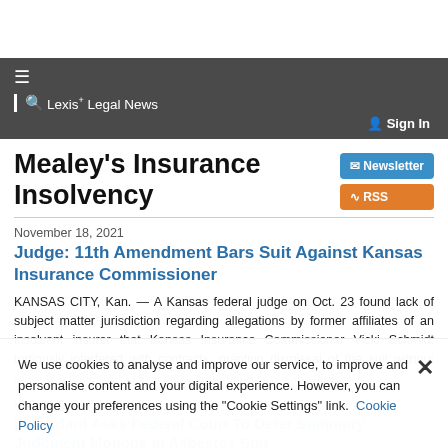Lexis+ Legal News
Mealey's Insurance Insolvency
November 18, 2021
Judge: 11th Amendment Bars Suit Against Kansas Insurance Commissioner
KANSAS CITY, Kan. — A Kansas federal judge on Oct. 23 found lack of subject matter jurisdiction regarding allegations by former affiliates of an insolvent insurer that Kansas Insurance Commissioner Vicki Schmidt tortiously interfered with contracts, granting dismissal of the suit without prejudice under the 11th Amendment to the U.S. Constitution.
November 17, 2021
Defendant Asks Federal Court To Defer Summary Judgment Motions In Asbestos Suit
We use cookies to analyse and improve our service, to improve and personalise content and your digital experience. However, you can change your preferences using the "Cookie Settings" link.  Cookie Policy